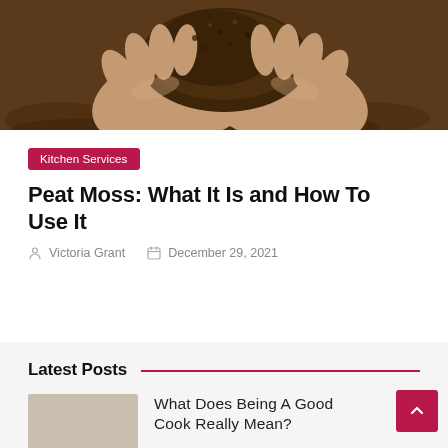[Figure (photo): Hands holding dark soil/peat moss against a blurred soil background]
Kitchen Services
Peat Moss: What It Is and How To Use It
Victoria Grant   December 29, 2021
Latest Posts
What Does Being A Good Cook Really Mean?